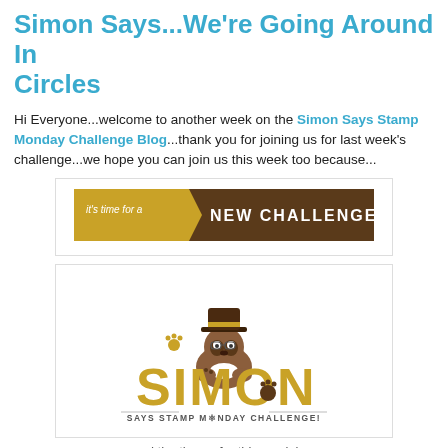Simon Says...We're Going Around In Circles
Hi Everyone...welcome to another week on the Simon Says Stamp Monday Challenge Blog...thank you for joining us for last week's challenge...we hope you can join us this week too because...
[Figure (illustration): Banner graphic with dark brown background and gold ribbon, text reads: it's time for a NEW CHALLENGE!]
[Figure (logo): Simon Says Stamp Monday Challenge logo with cartoon dog wearing top hat, large orange letters spelling SIMON, tagline SAYS STAMP MONDAY CHALLENGE!]
and the theme for this week is...
WE'RE GOING AROUND IN CIRCLES
you could say that is the story of my life at the moment...I